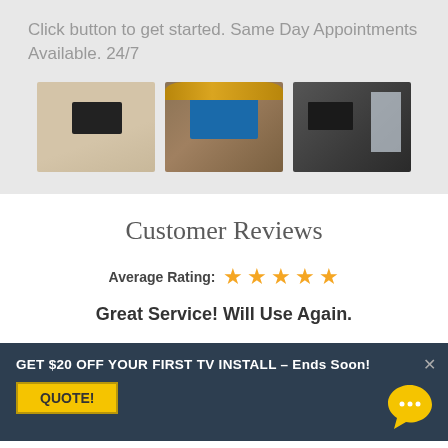Click button to get started. Same Day Appointments Available. 24/7
[Figure (photo): Three photos of TV wall mounting installations in different rooms]
Customer Reviews
Average Rating: ★★★★★
Great Service! Will Use Again.
GET $20 OFF YOUR FIRST TV INSTALL – Ends Soon!
QUOTE!